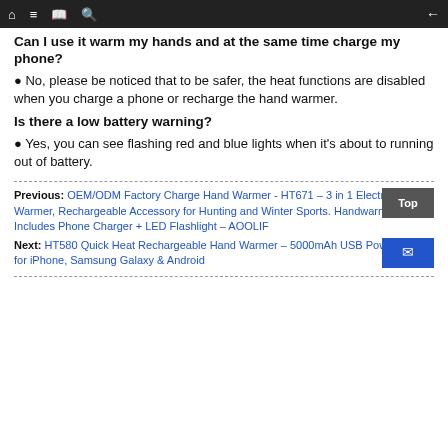Navigation bar with home, menu, book, search icons and back arrow
Can I use it warm my hands and at the same time charge my phone?
No, please be noticed that to be safer, the heat functions are disabled when you charge a phone or recharge the hand warmer.
Is there a low battery warning?
Yes, you can see flashing red and blue lights when it's about to running out of battery.
Previous: OEM/ODM Factory Charge Hand Warmer - HT671 – 3 in 1 Electric Hand Warmer, Rechargeable Accessory for Hunting and Winter Sports. Handwarmer Includes Phone Charger + LED Flashlight – AOOLIF
Next: HT580 Quick Heat Rechargeable Hand Warmer – 5000mAh USB Power Bank for iPhone, Samsung Galaxy & Android